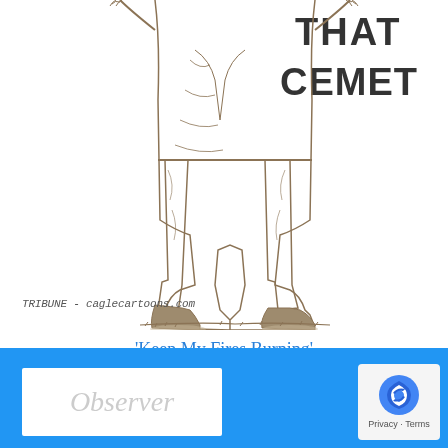[Figure (illustration): Editorial cartoon showing lower body/legs of a figure in boots standing on ground, with handwritten text 'THAT CEMET' in upper right. Sketch style drawn in dark ink/pencil.]
TRIBUNE - caglecartoons.com
'Keep My Fires Burning'
August 19, 2022
[Figure (infographic): Navigation buttons: left double-arrow (previous) and right double-arrow (next) in blue, side by side in white bordered boxes]
[Figure (logo): Observer logo in white box on blue footer bar]
[Figure (other): reCAPTCHA icon with Privacy and Terms text]